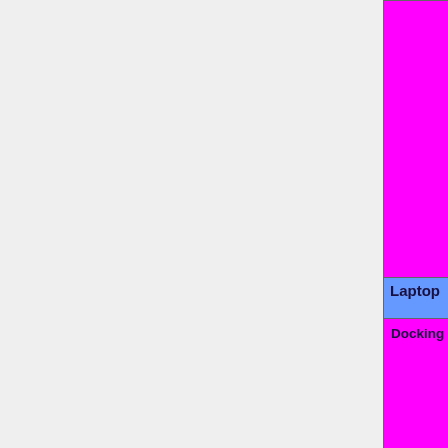| Feature | Status |
| --- | --- |
|  | TODO=red | No=red | WIP=orange | Untested=yellow | N/A=lightgray yellow }}" | N/A |
| Laptop |  |
| Docking VGA | OK=lime | TODO=red | No=red | WIP=orange | Untested=yellow | N/A=lightgray yellow }}" | N/A |
| Docking LAN | OK=lime | TODO=red | No=red | WIP=orange | Untested=yellow | N/A=lightgray yellow }}" | N/A |
| Docking USB | OK=lime | TODO=red | |